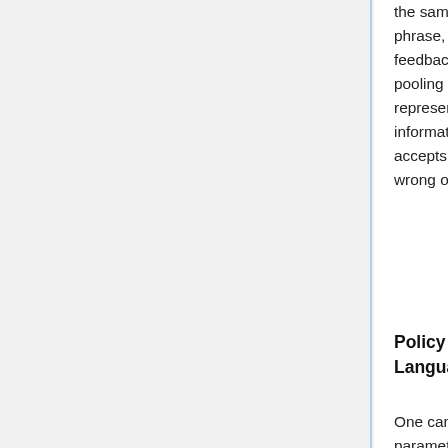the sampled caption and feedback sentence for the t-th phrase, respectively. FBN encodes both the caption and feedback using an LSTM ($f_{sent}$), performs mean pooling ($f_{phrase}$) over the words in a phrase to represent the phrase i with $q_i$, and passes this information through a 3-layer MLP ($f_{fbn}$). The MLP accepts additional information about the mistake type (e.g., wrong object/action) encoded as a one hot vector m.
Policy Gradient Optimization using Natural Language Feedback
One can think of an caption decoder as an agent following a parameterized